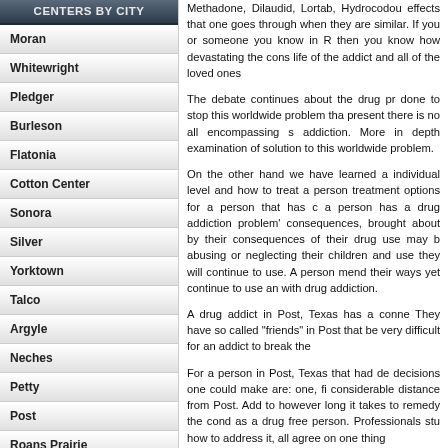CENTERS BY CITY
Moran
Whitewright
Pledger
Burleson
Flatonia
Cotton Center
Sonora
Silver
Yorktown
Talco
Argyle
Neches
Petty
Post
Roans Prairie
Three Rivers
Cumby
Methadone, Dilaudid, Lortab, Hydrocodone, effects that one goes through when they are similar. If you or someone you know in R then you know how devastating the cons life of the addict and all of the loved ones
The debate continues about the drug p done to stop this worldwide problem tha present there is no all encompassing s addiction. More in depth examination of solution to this worldwide problem.
On the other hand we have learned a individual level and how to treat a person treatment options for a person that has c a person has a drug addiction problem consequences, brought about by their consequences of their drug use may b abusing or neglecting their children and use they will continue to use. A person mend their ways yet continue to use an with drug addiction.
A drug addict in Post, Texas has a conne They have so called "friends" in Post that be very difficult for an addict to break the
For a person in Post, Texas that had de decisions one could make are: one, fi considerable distance from Post. Add to however long it takes to remedy the cond as a drug free person. Professionals stu how to address it, all agree on one thing